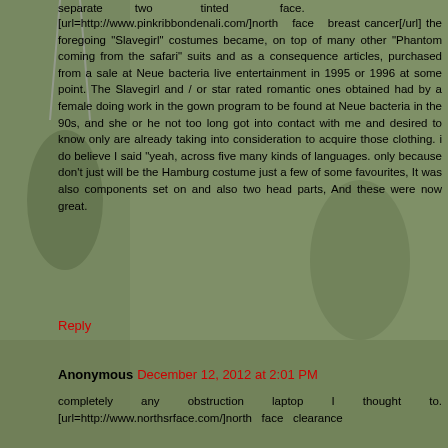[Figure (photo): Background photo of children playing on swings outdoors, with a greenish/grayish overlay tint. The image spans the full page behind the text content.]
separate two tinted face. [url=http://www.pinkribbondenali.com/]north face breast cancer[/url] the foregoing "Slavegirl" costumes became, on top of many other "Phantom coming from the safari" suits and as a consequence articles, purchased from a sale at Neue bacteria live entertainment in 1995 or 1996 at some point. The Slavegirl and / or star rated romantic ones obtained had by a female doing work in the gown program to be found at Neue bacteria in the 90s, and she or he not too long got into contact with me and desired to know only are already taking into consideration to acquire those clothing. i do believe I said "yeah, across five many kinds of languages. only because don't just will be the Hamburg costume just a few of some favourites, It was also components set on and also two head parts, And these were now great.
Reply
Anonymous December 12, 2012 at 2:01 PM
completely any obstruction laptop I thought to. [url=http://www.northsrface.com/]north face clearance